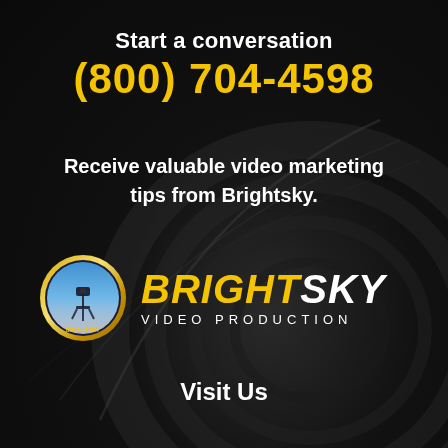Start a conversation
(800) 704-4598
Receive valuable video marketing tips from Brightsky.
[Figure (logo): Brightsky Video Production logo — circular badge with gold border and company name text BRIGHTSKY VIDEO PRODUCTION]
Visit Us